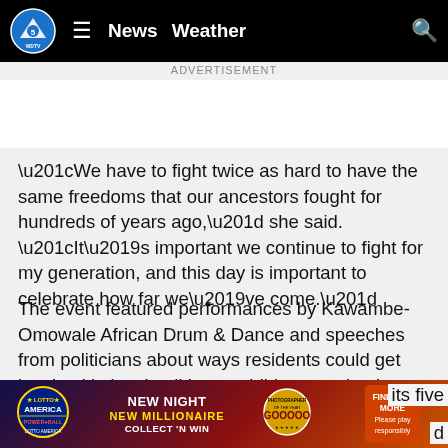WDTV News Weather
ADVERTISEMENT
“We have to fight twice as hard to have the same freedoms that our ancestors fought for hundreds of years ago,” she said. “It’s important we continue to fight for my generation, and this day is important to celebrate how far we’ve come.”
The event featured performances by Kawambe-Omowale African Drum & Dance and speeches from politicians about ways residents could get involved in local politics as children received balloon animals and ran through Eastlake Park’s playground.
In New ... its five boroughs ... d
[Figure (screenshot): Lotto America / Power Ball / New Night New Millionaire Collect N Win advertisement banner at the bottom of the page]